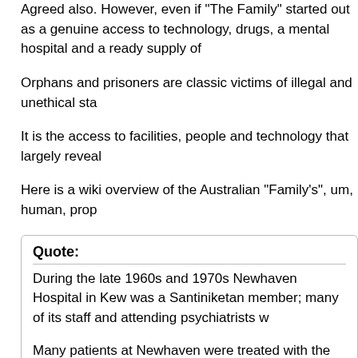Agreed also. However, even if "The Family" started out as a genuine access to technology, drugs, a mental hospital and a ready supply of
Orphans and prisoners are classic victims of illegal and unethical sta
It is the access to facilities, people and technology that largely reveal
Here is a wiki overview of the Australian "Family's", um, human, prop
Quote:
During the late 1960s and 1970s Newhaven Hospital in Kew was a Santiniketan member; many of its staff and attending psychiatrists w
Many patients at Newhaven were treated with the hallucinogenic dr the patients, and also to administer LSD to members under the dire [8]. One of the original members of the Association was given LSD,
Although the psychiatric hospital had been closed down by 1992, i 1975 after new claims that his death had been due to deep sleep th therapy, LSD and other practices at Newhaven but found no eviden was later reopened as a nursing home with no connections to its n